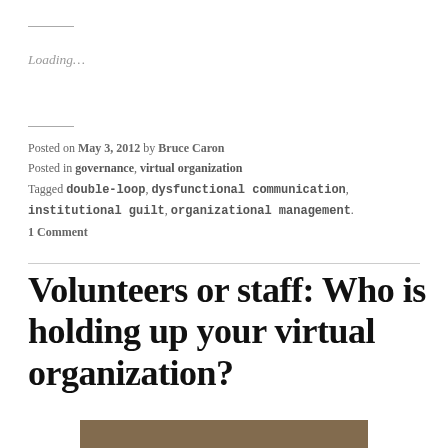Loading...
Posted on May 3, 2012 by Bruce Caron
Posted in governance, virtual organization
Tagged double-loop, dysfunctional communication, institutional guilt, organizational management.
1 Comment
Volunteers or staff: Who is holding up your virtual organization?
[Figure (photo): Bottom portion of a photo showing a decorative carved wooden surface, partially visible at the bottom of the page.]